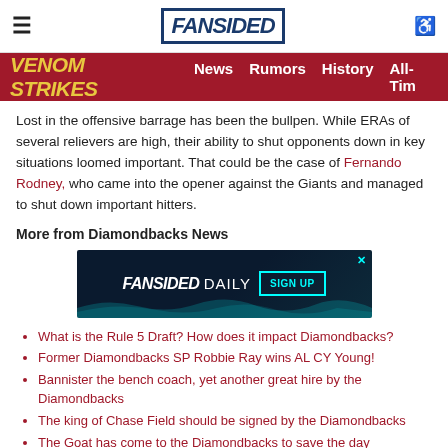FanSided
Venom Strikes | News | Rumors | History | All-Tim
Lost in the offensive barrage has been the bullpen. While ERAs of several relievers are high, their ability to shut opponents down in key situations loomed important. That could be the case of Fernando Rodney, who came into the opener against the Giants and managed to shut down important hitters.
More from Diamondbacks News
[Figure (other): FanSided Daily advertisement banner with SIGN UP button]
What is the Rule 5 Draft? How does it impact Diamondbacks?
Former Diamondbacks SP Robbie Ray wins AL CY Young!
Bannister the bench coach, yet another great hire by the Diamondbacks
The king of Chase Field should be signed by the Diamondbacks
The Goat has come to the Diamondbacks to save the day